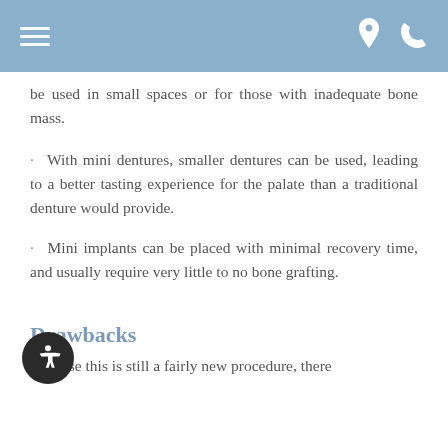[Navigation bar with hamburger menu, location pin icon, and phone icon]
be used in small spaces or for those with inadequate bone mass.
With mini dentures, smaller dentures can be used, leading to a better tasting experience for the palate than a traditional denture would provide.
Mini implants can be placed with minimal recovery time, and usually require very little to no bone grafting.
Drawbacks
Because this is still a fairly new procedure, there